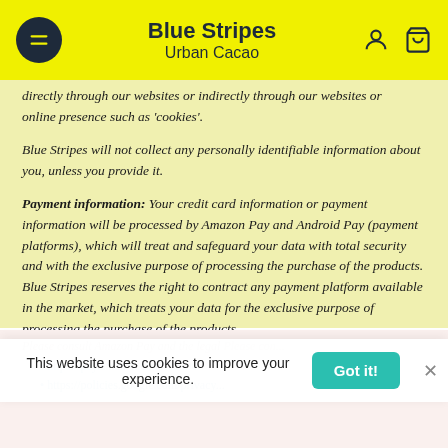Blue Stripes Urban Cacao
directly through our websites or indirectly through our websites or online presence such as 'cookies'.
Blue Stripes will not collect any personally identifiable information about you, unless you provide it.
Payment information: Your credit card information or payment information will be processed by Amazon Pay and Android Pay (payment platforms), which will treat and safeguard your data with total security and with the exclusive purpose of processing the purchase of the products. Blue Stripes reserves the right to contract any payment platform available in the market, which treats your data for the exclusive purpose of processing the purchase of the products.
Please consult Amazon Pay and the legal Please con...
https://pay.amazon.com/...1500
https://policies.google.com/privacy...
This website uses cookies to improve your experience.